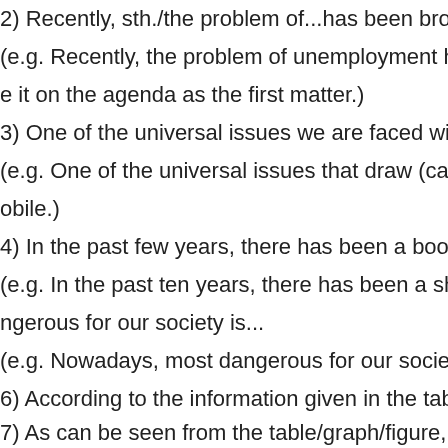2) Recently, sth./the problem of...has been brought to popular a
(e.g. Recently, the problem of unemployment has been brought
e it on the agenda as the first matter.)
3) One of the universal issues we are faced with/that cause incr
(e.g. One of the universal issues that draw (cause) growing con
obile.)
4) In the past few years, there has been a boom/sharp growth/d
(e.g. In the past ten years, there has been a sharp decline in the
ngerous for our society is...
(e.g. Nowadays, most dangerous for our society is the tendency
6) According to the information given in the table/graph, we can
7) As can be seen from the table/graph/figure, there is a marked